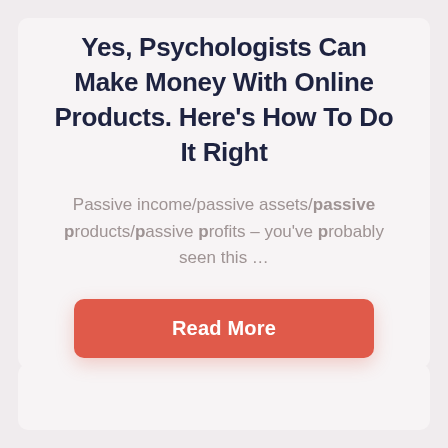Yes, Psychologists Can Make Money With Online Products. Here's How To Do It Right
Passive income/passive assets/passive products/passive profits – you've probably seen this …
Read More